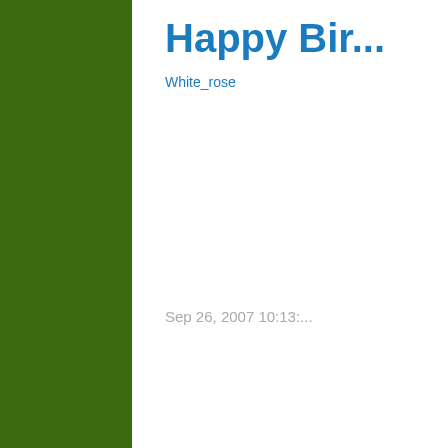[Figure (other): Dark olive green background area occupying the left portion of the page]
Happy Bir...
[Figure (other): White_rose image placeholder link]
Sep 26, 2007 10:13:...
Com...
There Are...
Previously, I made... US border to the u... and efficiency of su... hope that no one w... the same purpose.
It seems that Jeff T...